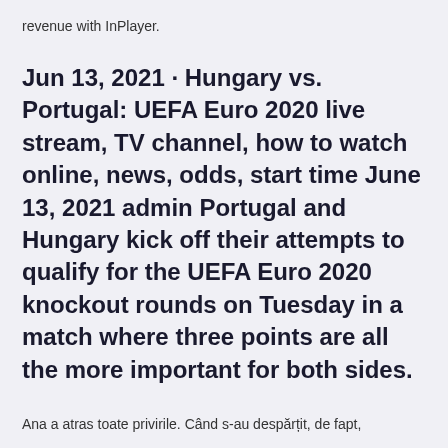revenue with InPlayer.
Jun 13, 2021 · Hungary vs. Portugal: UEFA Euro 2020 live stream, TV channel, how to watch online, news, odds, start time June 13, 2021 admin Portugal and Hungary kick off their attempts to qualify for the UEFA Euro 2020 knockout rounds on Tuesday in a match where three points are all the more important for both sides.
Ana a atras toate privirile. Când s-au despărțit, de fapt,